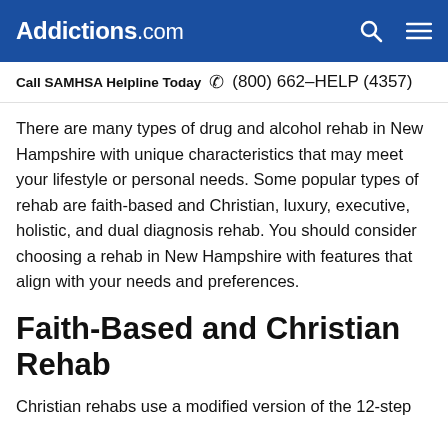Addictions.com
Call SAMHSA Helpline Today  (800) 662-HELP (4357)
There are many types of drug and alcohol rehab in New Hampshire with unique characteristics that may meet your lifestyle or personal needs. Some popular types of rehab are faith-based and Christian, luxury, executive, holistic, and dual diagnosis rehab. You should consider choosing a rehab in New Hampshire with features that align with your needs and preferences.
Faith-Based and Christian Rehab
Christian rehabs use a modified version of the 12-step